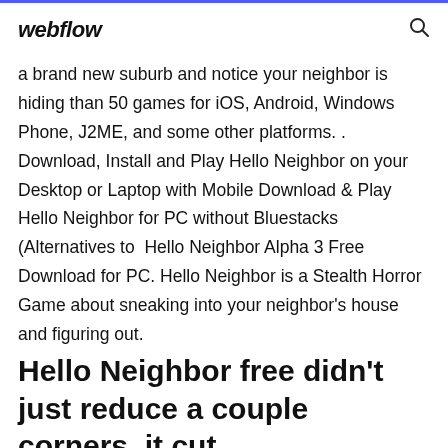webflow
a brand new suburb and notice your neighbor is hiding than 50 games for iOS, Android, Windows Phone, J2ME, and some other platforms. . Download, Install and Play Hello Neighbor on your Desktop or Laptop with Mobile Download & Play Hello Neighbor for PC without Bluestacks (Alternatives to Hello Neighbor Alpha 3 Free Download for PC. Hello Neighbor is a Stealth Horror Game about sneaking into your neighbor's house and figuring out.
Hello Neighbor free didn't just reduce a couple corners, it cut